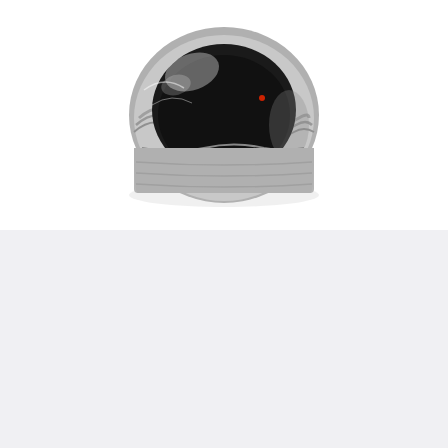[Figure (photo): A silver flexible HVAC duct or aluminum foil duct viewed from the end, showing the circular interior opening, photographed against a white background. The duct opening faces the viewer.]
Method
Heat oil in a saucepan over medium-high heat. Add onion, garlic and bacon. Cook, stirring, for 3 to 5 minutes or until bacon is golden. Add zucchini, carrot, celery and cauliflower. Cook, stirring occasionally, for 5 minutes or until vegetables start to brown.